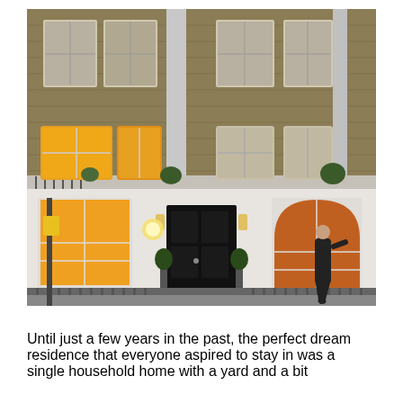[Figure (photo): Exterior photograph of a multi-storey London Georgian townhouse at dusk/evening. The building has a brick upper facade with large sash windows, a white stucco ground floor with arched windows and a black front door flanked by topiary plants and lantern lights. A wrought-iron fence runs along the front. A person is walking past on the pavement to the right.]
Until just a few years in the past, the perfect dream residence that everyone aspired to stay in was a single household home with a yard and a bit